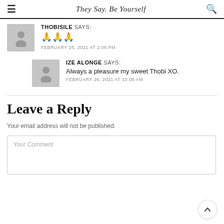They Say. Be Yourself
THOBISILE SAYS:
🙏🙏🙏
FEBRUARY 25, 2021 AT 2:06 PM
IZE ALONGE SAYS:
Always a pleasure my sweet Thobi XO.
FEBRUARY 26, 2021 AT 10:08 AM
Leave a Reply
Your email address will not be published.
Your Comment